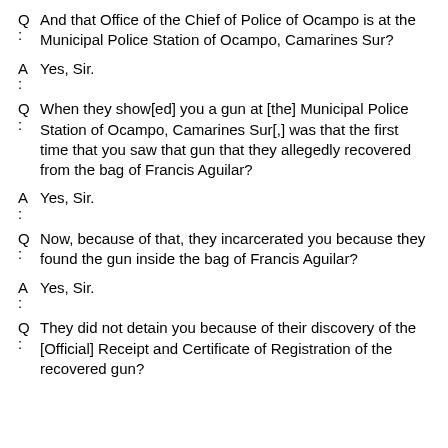Q: And that Office of the Chief of Police of Ocampo is at the Municipal Police Station of Ocampo, Camarines Sur?
A: Yes, Sir.
Q: When they show[ed] you a gun at [the] Municipal Police Station of Ocampo, Camarines Sur[,] was that the first time that you saw that gun that they allegedly recovered from the bag of Francis Aguilar?
A: Yes, Sir.
Q: Now, because of that, they incarcerated you because they found the gun inside the bag of Francis Aguilar?
A: Yes, Sir.
Q: They did not detain you because of their discovery of the [Official] Receipt and Certificate of Registration of the recovered gun?